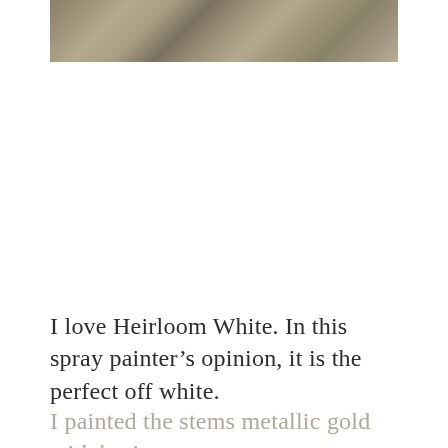[Figure (photo): Partial view of a textured stone or concrete surface in muted beige and khaki tones, cropped at the top of the page.]
I love Heirloom White. In this spray painter’s opinion, it is the perfect off white.
I painted the stems metallic gold with basic